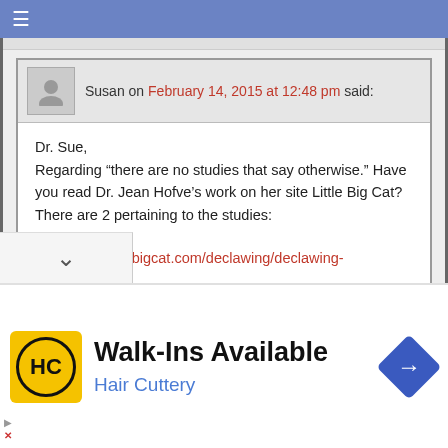≡
Susan on February 14, 2015 at 12:48 pm said:
Dr. Sue,
Regarding “there are no studies that say otherwise.” Have you read Dr. Jean Hofve’s work on her site Little Big Cat? There are 2 pertaining to the studies:

http://www.littlebigcat.com/declawing/declawing-and-science/

http://www.littlebigcat.com/declawing/studies-pertaining-to-declawing-onychectomy/
Walk-Ins Available
Hair Cuttery